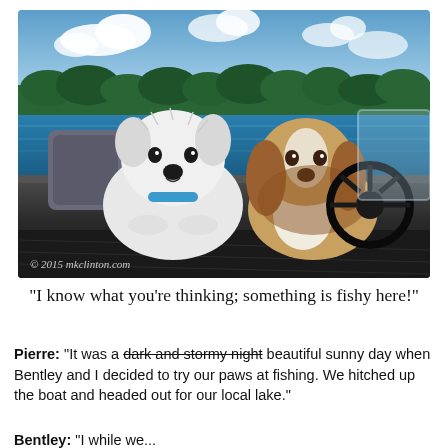[Figure (photo): Two dogs sitting in a motorboat on a lake. A white Westie dog is in the foreground on the left, and a beagle is behind the steering wheel on the right. Blue sky with clouds and green treeline visible in background. Copyright watermark reads '© 2015 mkclinton.com'.]
"I know what you're thinking; something is fishy here!"
Pierre: "It was a dark and stormy night beautiful sunny day when Bentley and I decided to try our paws at fishing. We hitched up the boat and headed out for our local lake."
Bentley: "I while we...